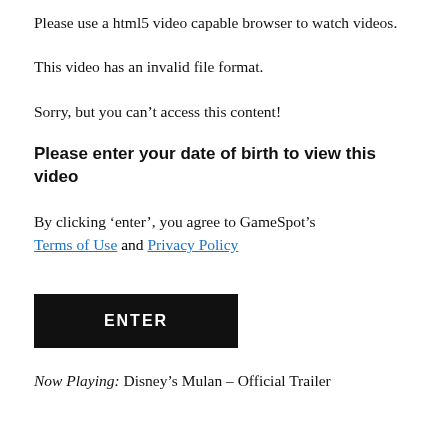Please use a html5 video capable browser to watch videos.
This video has an invalid file format.
Sorry, but you can't access this content!
Please enter your date of birth to view this video
By clicking ‘enter’, you agree to GameSpot’s Terms of Use and Privacy Policy
ENTER
Now Playing: Disney’s Mulan – Official Trailer